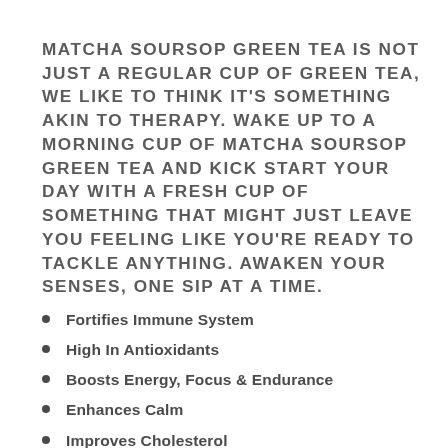MATCHA SOURSOP GREEN TEA IS NOT JUST A REGULAR CUP OF GREEN TEA, WE LIKE TO THINK IT'S SOMETHING AKIN TO THERAPY. WAKE UP TO A MORNING CUP OF MATCHA SOURSOP GREEN TEA AND KICK START YOUR DAY WITH A FRESH CUP OF SOMETHING THAT MIGHT JUST LEAVE YOU FEELING LIKE YOU'RE READY TO TACKLE ANYTHING. AWAKEN YOUR SENSES, ONE SIP AT A TIME.
Fortifies Immune System
High In Antioxidants
Boosts Energy, Focus & Endurance
Enhances Calm
Improves Cholesterol